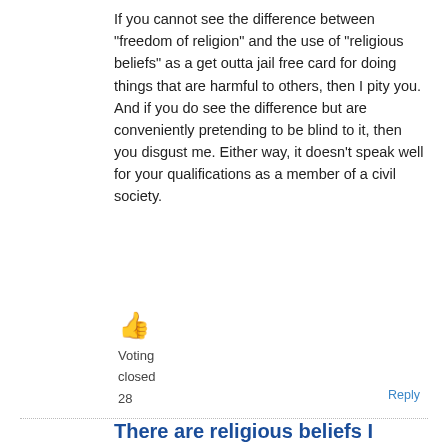If you cannot see the difference between "freedom of religion" and the use of "religious beliefs" as a get outta jail free card for doing things that are harmful to others, then I pity you. And if you do see the difference but are conveniently pretending to be blind to it, then you disgust me. Either way, it doesn't speak well for your qualifications as a member of a civil society.
[Figure (other): Thumbs up emoji icon in orange/yellow color]
Voting
closed
28
Reply
There are religious beliefs I abhor